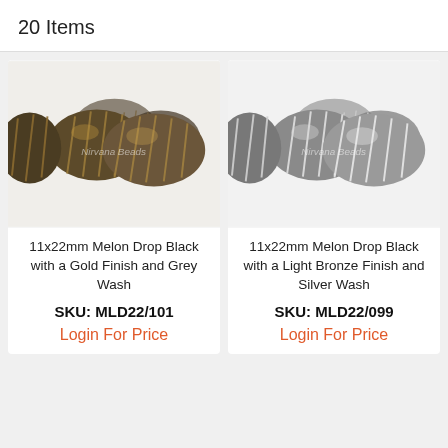20 Items
[Figure (photo): 11x22mm Melon Drop Black beads with a Gold Finish and Grey Wash, shown in a cluster on white background. Nirvana Beads watermark visible.]
11x22mm Melon Drop Black with a Gold Finish and Grey Wash
SKU: MLD22/101
Login For Price
[Figure (photo): 11x22mm Melon Drop Black beads with a Light Bronze Finish and Silver Wash, shown in a cluster on white background. Nirvana Beads watermark visible.]
11x22mm Melon Drop Black with a Light Bronze Finish and Silver Wash
SKU: MLD22/099
Login For Price